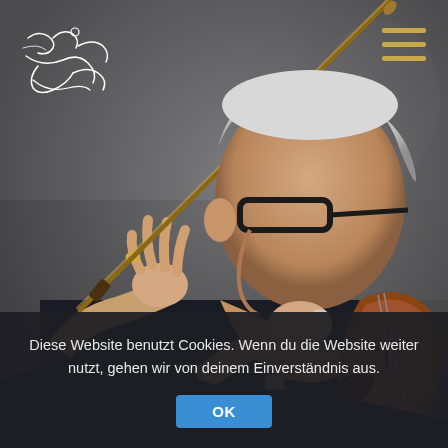[Figure (photo): Elderly male violinist with white hair and black glasses, playing violin, holding bow raised, side/profile view, photographed outdoors in urban setting]
[Figure (illustration): Handwritten signature/autograph of artist in white ink on dark overlay, top-left corner]
[Figure (infographic): Hamburger menu icon with three horizontal gold/yellow lines, top-right corner]
Diese Website benutzt Cookies. Wenn du die Website weiter nutzt, gehen wir von deinem Einverständnis aus.
OK